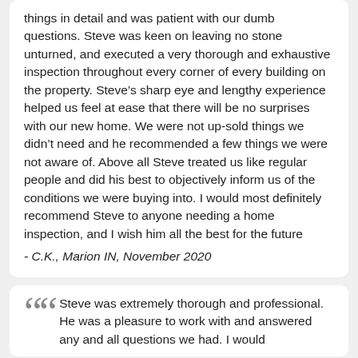things in detail and was patient with our dumb questions. Steve was keen on leaving no stone unturned, and executed a very thorough and exhaustive inspection throughout every corner of every building on the property. Steve's sharp eye and lengthy experience helped us feel at ease that there will be no surprises with our new home. We were not up-sold things we didn't need and he recommended a few things we were not aware of. Above all Steve treated us like regular people and did his best to objectively inform us of the conditions we were buying into. I would most definitely recommend Steve to anyone needing a home inspection, and I wish him all the best for the future - C.K., Marion IN, November 2020
Steve was extremely thorough and professional. He was a pleasure to work with and answered any and all questions we had. I would